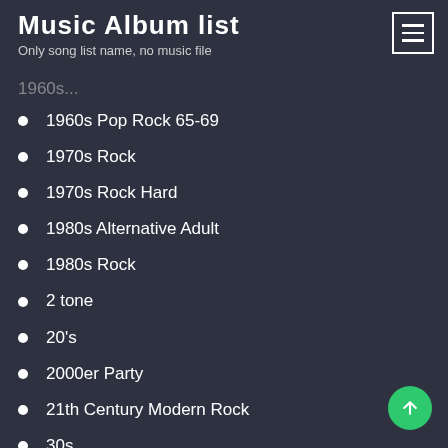Music Album list
Only song list name, no music file
1960s Pop Rock 65-69
1970s Rock
1970s Rock Hard
1980s Alternative Adult
1980s Rock
2 tone
20's
2000er Party
21th Century Modern Rock
30s
3p
40's
429 Records
4AD
50's
50's & 60's Oldies